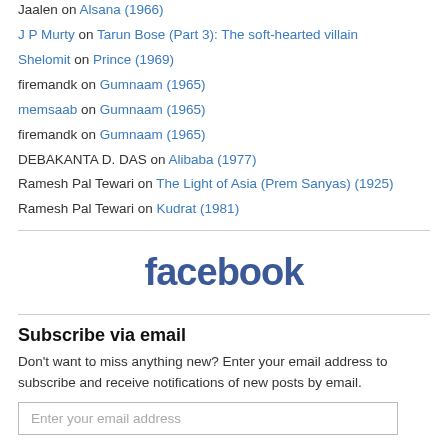Jaalen on Alsana (1966)
J P Murty on Tarun Bose (Part 3): The soft-hearted villain
Shelomit on Prince (1969)
firemandk on Gumnaam (1965)
memsaab on Gumnaam (1965)
firemandk on Gumnaam (1965)
DEBAKANTA D. DAS on Alibaba (1977)
Ramesh Pal Tewari on The Light of Asia (Prem Sanyas) (1925)
Ramesh Pal Tewari on Kudrat (1981)
[Figure (logo): Facebook logo in bold blue text]
Subscribe via email
Don't want to miss anything new? Enter your email address to subscribe and receive notifications of new posts by email.
Enter your email address